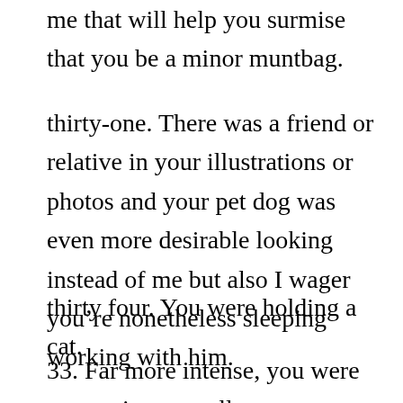me that will help you surmise that you be a minor muntbag.
thirty-one. There was a friend or relative in your illustrations or photos and your pet dog was even more desirable looking instead of me but also I wager you’re nonetheless sleeping working with him.
thirty four. You were holding a cat.
33. Far more intense, you were possessing a small puppy.